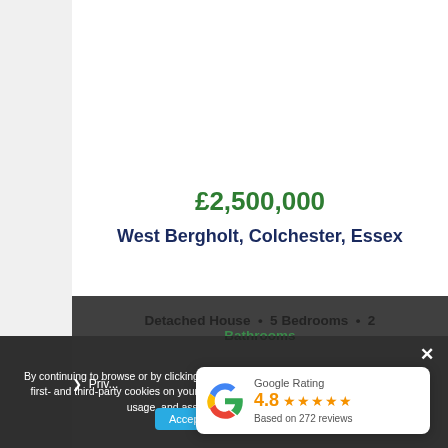[Figure (photo): Aerial/overhead photo of a detached house with green hedges, lawn, and a driveway in West Bergholt, Essex]
£2,500,000
West Bergholt, Colchester, Essex
Detached House  •  5 Bedrooms  •  2 Bathrooms
By continuing to browse or by clicking "Accept All Cookies," you agree to the storing of first- and third-party cookies on your device to enhance site navigation, analyse site usage, and assist in our marketing efforts.
Google Rating
4.8
Based on 272 reviews
› Priv...
Accept Cookies